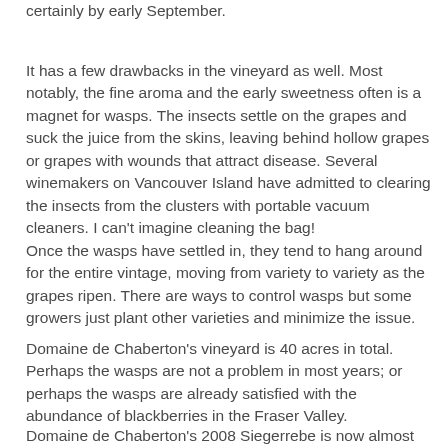certainly by early September.
It has a few drawbacks in the vineyard as well. Most notably, the fine aroma and the early sweetness often is a magnet for wasps. The insects settle on the grapes and suck the juice from the skins, leaving behind hollow grapes or grapes with wounds that attract disease. Several winemakers on Vancouver Island have admitted to clearing the insects from the clusters with portable vacuum cleaners. I can't imagine cleaning the bag!
Once the wasps have settled in, they tend to hang around for the entire vintage, moving from variety to variety as the grapes ripen. There are ways to control wasps but some growers just plant other varieties and minimize the issue.
Domaine de Chaberton's vineyard is 40 acres in total. Perhaps the wasps are not a problem in most years; or perhaps the wasps are already satisfied with the abundance of blackberries in the Fraser Valley.
Domaine de Chaberton's 2008 Siegerrebe is now almost